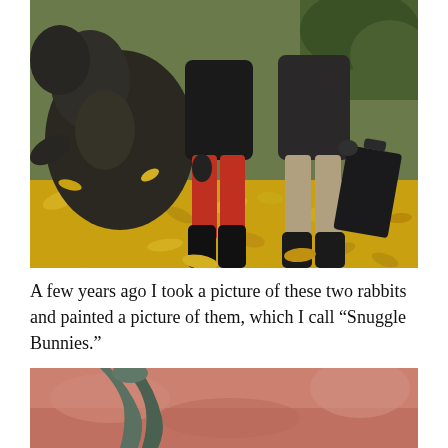[Figure (photo): Outdoor autumn scene with two people standing next to a large dark bronze bear sculpture. The ground is covered in bright yellow fallen leaves. One person wears red pants and black boots; the other wears beige/khaki pants and holds a black briefcase.]
A few years ago I took a picture of these two rabbits and painted a picture of them, which I call “Snuggle Bunnies.”
[Figure (photo): Close-up partial view of a painting showing what appears to be an animal figure in muted green/teal tones against a pink/salmon textured background — the 'Snuggle Bunnies' painting referenced in the text.]